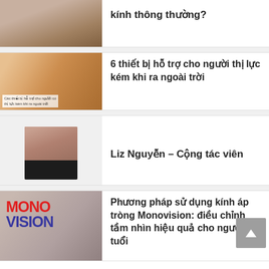[Figure (photo): Partial photo of a woman, only top portion visible]
kính thông thường?
[Figure (photo): Elderly woman wearing large dark sunglasses outdoors, with caption text overlay about assistive devices for low vision]
6 thiết bị hỗ trợ cho người thị lực kém khi ra ngoài trời
[Figure (photo): Portrait photo of Liz Nguyễn, a woman with brown hair wearing a dark jacket]
Liz Nguyễn – Cộng tác viên
[Figure (photo): Elderly woman inserting a contact lens, with MONOVISION logo overlay in red and blue]
Phương pháp sử dụng kính áp tròng Monovision: điều chỉnh tầm nhìn hiệu quả cho người cao tuổi